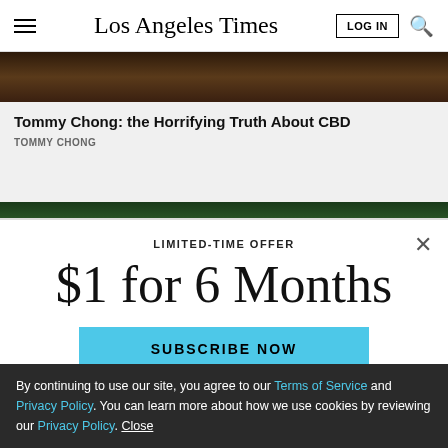Los Angeles Times
[Figure (photo): Dark image top portion of article card]
Tommy Chong: the Horrifying Truth About CBD
TOMMY CHONG
[Figure (photo): Dark green plant image top of second article card]
LIMITED-TIME OFFER
$1 for 6 Months
SUBSCRIBE NOW
By continuing to use our site, you agree to our Terms of Service and Privacy Policy. You can learn more about how we use cookies by reviewing our Privacy Policy. Close